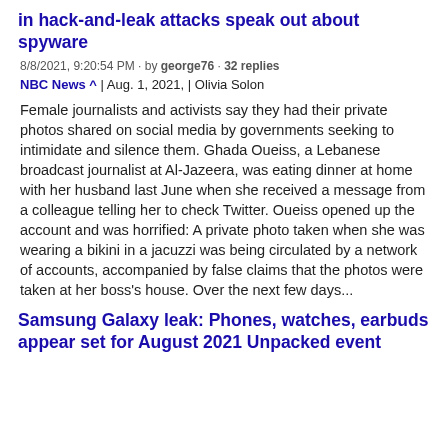in hack-and-leak attacks speak out about spyware
8/8/2021, 9:20:54 PM · by george76 · 32 replies
NBC News ^ | Aug. 1, 2021, | Olivia Solon
Female journalists and activists say they had their private photos shared on social media by governments seeking to intimidate and silence them. Ghada Oueiss, a Lebanese broadcast journalist at Al-Jazeera, was eating dinner at home with her husband last June when she received a message from a colleague telling her to check Twitter. Oueiss opened up the account and was horrified: A private photo taken when she was wearing a bikini in a jacuzzi was being circulated by a network of accounts, accompanied by false claims that the photos were taken at her boss's house. Over the next few days...
Samsung Galaxy leak: Phones, watches, earbuds appear set for August 2021 Unpacked event